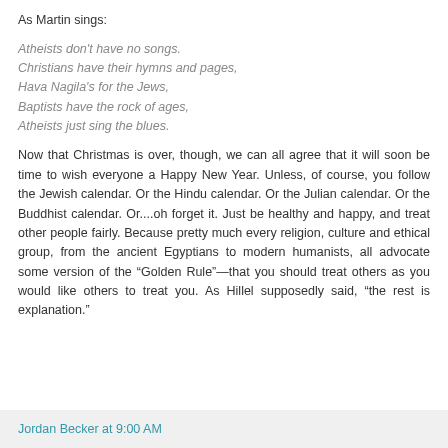As Martin sings:
Atheists don't have no songs.
Christians have their hymns and pages,
Hava Nagila's for the Jews,
Baptists have the rock of ages,
Atheists just sing the blues.
Now that Christmas is over, though, we can all agree that it will soon be time to wish everyone a Happy New Year. Unless, of course, you follow the Jewish calendar. Or the Hindu calendar. Or the Julian calendar. Or the Buddhist calendar. Or....oh forget it. Just be healthy and happy, and treat other people fairly. Because pretty much every religion, culture and ethical group, from the ancient Egyptians to modern humanists, all advocate some version of the “Golden Rule”—that you should treat others as you would like others to treat you. As Hillel supposedly said, “the rest is explanation.”
Jordan Becker at 9:00 AM